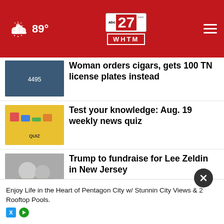abc27.com WHTM | 89°
Woman orders cigars, gets 100 TN license plates instead
Test your knowledge: Aug. 19 weekly news quiz
Trump to fundraise for Lee Zeldin in New Jersey
Catskills hotel that inspired 'Dirty Dancing' burns
Pennsylvania unemployment rate dropped in July
302 east reopened near Middletown
Enjoy Life in the Heart of Pentagon City w/ Stunnin City Views & 2 Rooftop Pools.